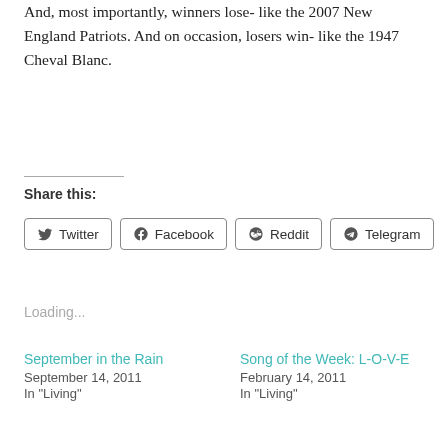And, most importantly, winners lose- like the 2007 New England Patriots. And on occasion, losers win- like the 1947 Cheval Blanc.
Share this:
Twitter  Facebook  Reddit  Telegram
Loading...
September in the Rain
September 14, 2011
In "Living"
Song of the Week: L-O-V-E
February 14, 2011
In "Living"
Remembering Hemingway: Fifty Years Later
July 2, 2011
In "Living"